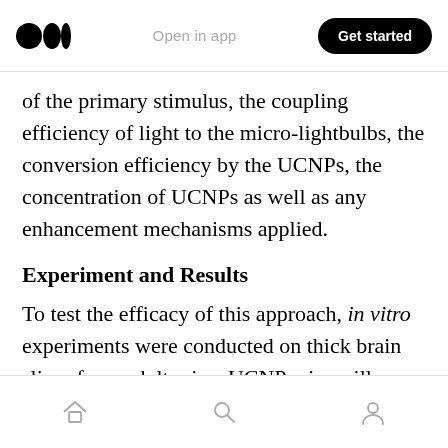Open in app  Get started
of the primary stimulus, the coupling efficiency of light to the micro-lightbulbs, the conversion efficiency by the UCNPs, the concentration of UCNPs as well as any enhancement mechanisms applied.
Experiment and Results
To test the efficacy of this approach, in vitro experiments were conducted on thick brain slices from adult mice. UCNP micropillars were placed on top of the brain tissue for measurement, as an alternative to the internal UCNPs that would be injected for in vivo applications.
[home] [search] [profile]